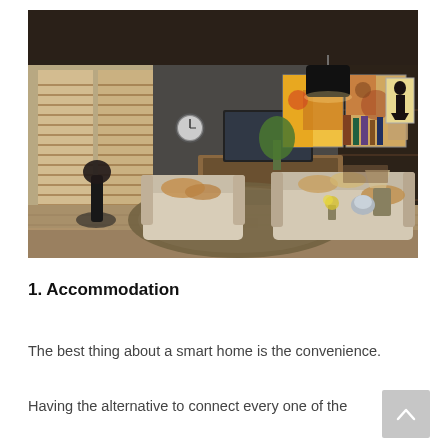[Figure (photo): Interior of a modern luxury living room with warm wooden floors, a large patterned area rug, beige sofas with copper/gold cushions, a TV mounted on a wooden sideboard, venetian blinds on tall windows letting in light, colorful abstract paintings on the wall, a black pendant lamp, bookshelves, a wall clock, and coved ceiling with LED strip lighting.]
1. Accommodation
The best thing about a smart home is the convenience.
Having the alternative to connect every one of the